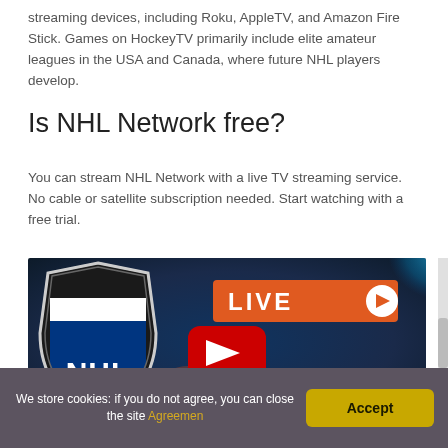streaming devices, including Roku, AppleTV, and Amazon Fire Stick. Games on HockeyTV primarily include elite amateur leagues in the USA and Canada, where future NHL players develop.
Is NHL Network free?
You can stream NHL Network with a live TV streaming service. No cable or satellite subscription needed. Start watching with a free trial.
[Figure (screenshot): YouTube video thumbnail showing NHL shield logo on left, LIVE banner on top right, YouTube play button in center, FREE text banner bottom right, over a colorful smoke background]
We store cookies: if you do not agree, you can close the site Agreemen Accept